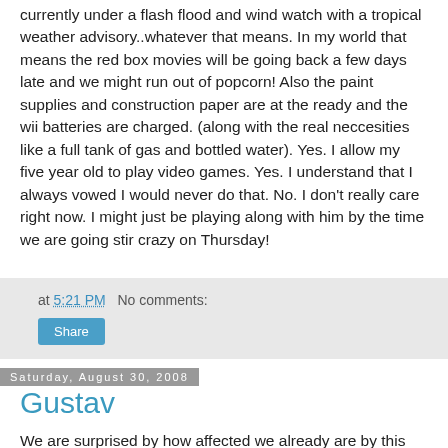currently under a flash flood and wind watch with a tropical weather advisory..whatever that means. In my world that means the red box movies will be going back a few days late and we might run out of popcorn! Also the paint supplies and construction paper are at the ready and the wii batteries are charged. (along with the real neccesities like a full tank of gas and bottled water). Yes. I allow my five year old to play video games. Yes. I understand that I always vowed I would never do that. No. I don't really care right now. I might just be playing along with him by the time we are going stir crazy on Thursday!
at 5:21 PM   No comments:
Share
Saturday, August 30, 2008
Gustav
We are surprised by how affected we already are by this